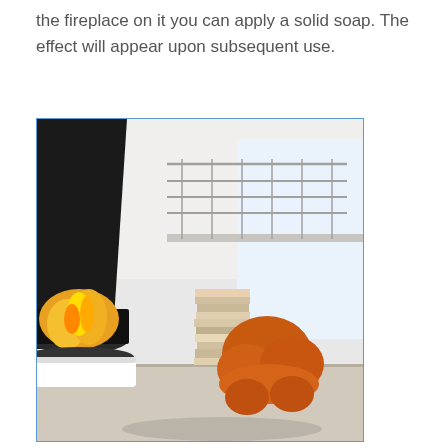the fireplace on it you can apply a solid soap. The effect will appear upon subsequent use.
[Figure (photo): A modern freestanding conical black fireplace with visible flames in a contemporary white interior room. An orange sculptural chair and stacked books/magazines are visible in the background, along with a mezzanine level railing and large window.]